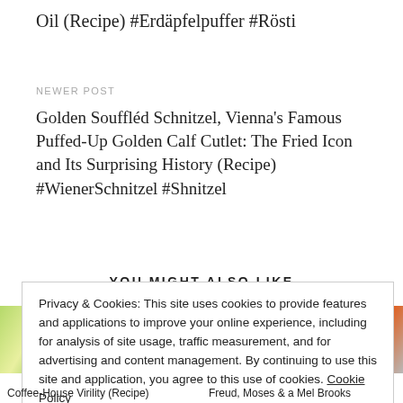Oil (Recipe) #Erdäpfelpuffer #Rösti
NEWER POST
Golden Souffléd Schnitzel, Vienna's Famous Puffed-Up Golden Calf Cutlet: The Fried Icon and Its Surprising History (Recipe) #WienerSchnitzel #Shnitzel
YOU MIGHT ALSO LIKE
[Figure (photo): Food photo - green salad or vegetable dish]
[Figure (photo): Food photo - colorful dish with vegetables]
Privacy & Cookies: This site uses cookies to provide features and applications to improve your online experience, including for analysis of site usage, traffic measurement, and for advertising and content management. By continuing to use this site and application, you agree to this use of cookies. Cookie Policy
Close and accept
Coffee-House Virility (Recipe)
Freud, Moses & a Mel Brooks